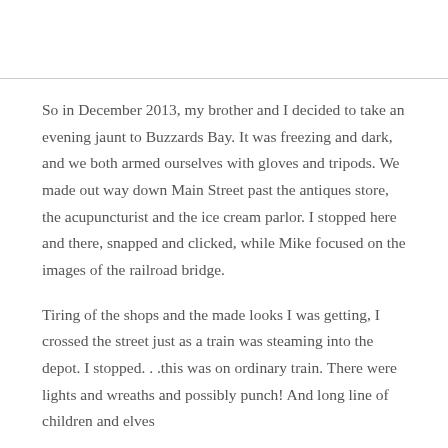So in December 2013, my brother and I decided to take an evening jaunt to Buzzards Bay. It was freezing and dark, and we both armed ourselves with gloves and tripods. We made out way down Main Street past the antiques store, the acupuncturist and the ice cream parlor. I stopped here and there, snapped and clicked, while Mike focused on the images of the railroad bridge.
Tiring of the shops and the made looks I was getting, I crossed the street just as a train was steaming into the depot. I stopped. . .this was on ordinary train. There were lights and wreaths and possibly punch! And long line of children and elves